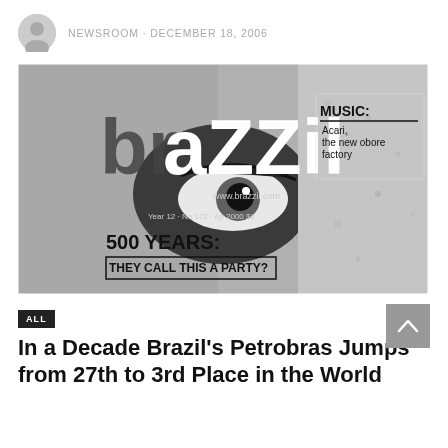NEWSROOM · DECEMBER 18, 2006
[Figure (photo): Black and white magazine cover of 'brazzil' magazine showing a close-up of a human eye. Text on cover: MUSIC: Acari, the new oboe factory. 500 YEARS: THEY CALL THIS A PARTY? Year 12 · No 172 · Ap 2000. www.brazzil.com]
ALL
In a Decade Brazil's Petrobras Jumps from 27th to 3rd Place in the World